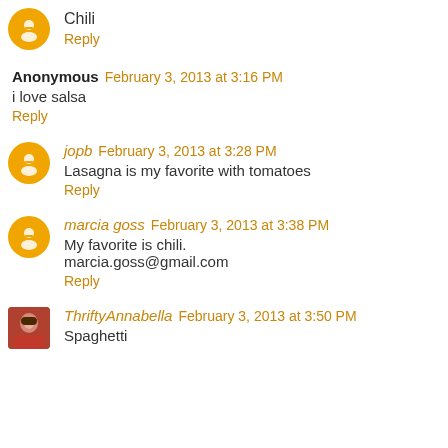Chili
Reply
Anonymous  February 3, 2013 at 3:16 PM
i love salsa
Reply
jopb  February 3, 2013 at 3:28 PM
Lasagna is my favorite with tomatoes
Reply
marcia goss  February 3, 2013 at 3:38 PM
My favorite is chili.
marcia.goss@gmail.com
Reply
ThriftyAnnabella  February 3, 2013 at 3:50 PM
Spaghetti